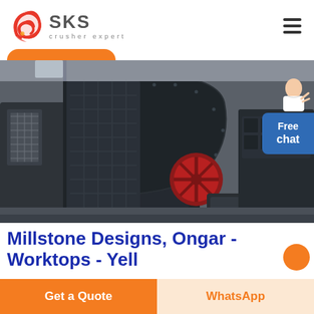[Figure (logo): SKS crusher expert logo with red swirl graphic and grey SKS text]
[Figure (photo): Large industrial hammer crusher / impact crusher machine, dark grey/black metal, with red flywheel visible, in factory setting]
Millstone Designs, Ongar - Worktops - Yell
Get a Quote
WhatsApp